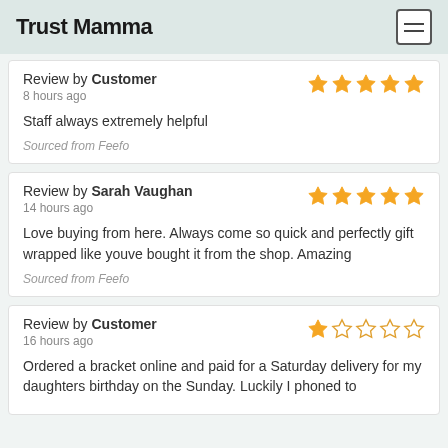Trust Mamma
Review by Customer
8 hours ago
Staff always extremely helpful
Sourced from Feefo
Review by Sarah Vaughan
14 hours ago
Love buying from here. Always come so quick and perfectly gift wrapped like youve bought it from the shop. Amazing
Sourced from Feefo
Review by Customer
16 hours ago
Ordered a bracket online and paid for a Saturday delivery for my daughters birthday on the Sunday. Luckily I phoned to